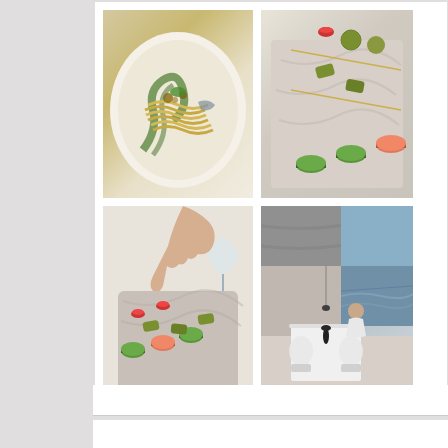[Figure (photo): Four food/restaurant photos arranged in a 2x2 grid on a white card background. Top-left: a plate of spaghetti/pasta with green herb sauce and garnishes on a white wavy plate. Top-right: colorful macarons (green and pink) and pistachio-coated treats on a marble serving board with skewers. Bottom-left: a hand arranging small appetizers including macarons and pistachio bites on a marble board. Bottom-right: interior of an upscale restaurant with white tablecloths, modern chairs, and ocean/water view through floor-to-ceiling windows.]
[Figure (photo): Partial view of a yellow rectangular element at the bottom of the page, suggesting the beginning of another content card below.]